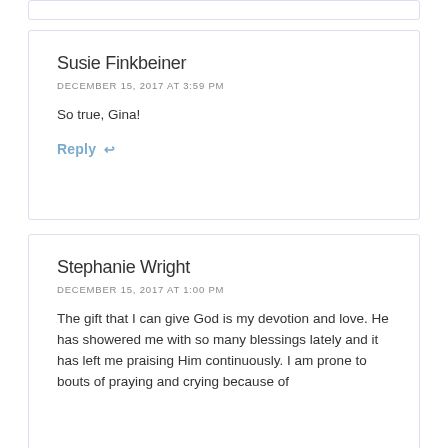Susie Finkbeiner
DECEMBER 15, 2017 AT 3:59 PM
So true, Gina!
Reply
Stephanie Wright
DECEMBER 15, 2017 AT 1:00 PM
The gift that I can give God is my devotion and love. He has showered me with so many blessings lately and it has left me praising Him continuously. I am prone to bouts of praying and crying because of